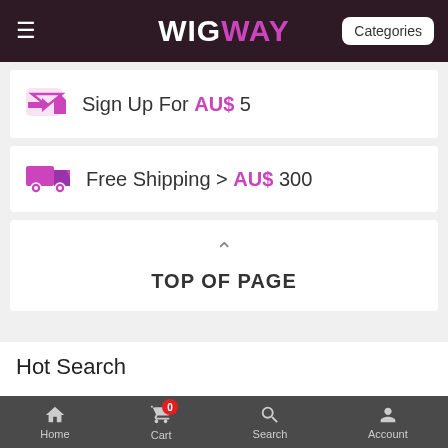WIGWAY — Categories
Sign Up For AU$ 5
Free Shipping > AU$ 300
TOP OF PAGE
Hot Search
% , Auburn Straight Remy Human Hair Wigs , black , blonde wigs , curly, wavy , how to use , human hair , long wigs , mens wig , short wigs
[More]
Home   Cart 0   Search   Account